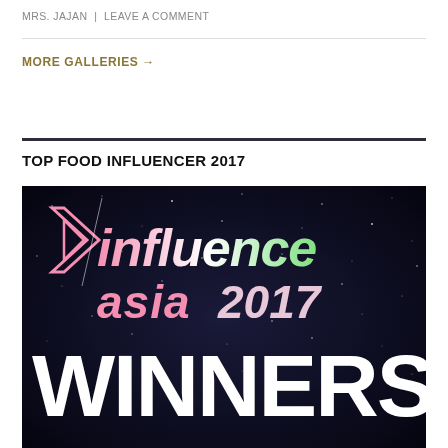MRS. JAJAN | LEAVE A COMMENT
MORE GALLERIES →
TOP FOOD INFLUENCER 2017
[Figure (photo): Influence Asia 2017 Winners promotional image with dark starry background, logo showing '>influence asia 2017' text and large white 'WINNERS' text at the bottom]